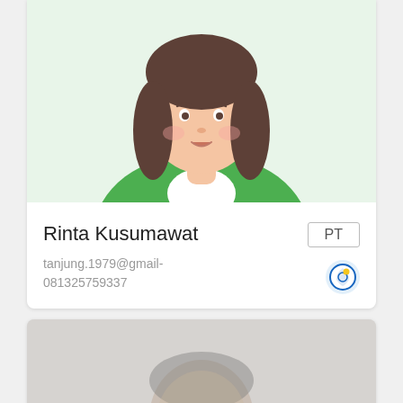[Figure (illustration): Female avatar illustration with brown hair and green top shirt, background light green]
Rinta Kusumawat
PT
tanjung.1979@gmail-
081325759337
[Figure (logo): Circular logo with blue and gold design]
[Figure (photo): Blurred photo of a middle-aged man in a light blue shirt against a white background]